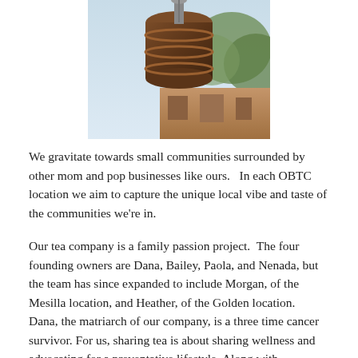[Figure (photo): A photo showing what appears to be a hanging barrel or vessel outdoors with sky, trees, and a building visible in the background.]
We gravitate towards small communities surrounded by other mom and pop businesses like ours.   In each OBTC location we aim to capture the unique local vibe and taste of the communities we're in.
Our tea company is a family passion project.  The four founding owners are Dana, Bailey, Paola, and Nenada, but the team has since expanded to include Morgan, of the Mesilla location, and Heather, of the Golden location.  Dana, the matriarch of our company, is a three time cancer survivor. For us, sharing tea is about sharing wellness and advocating for a preventative lifestyle. Along with advocating for a wellness oriented lifestyle,